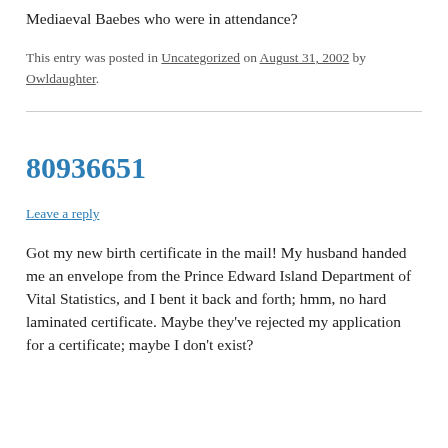Mediaeval Baebes who were in attendance?
This entry was posted in Uncategorized on August 31, 2002 by Owldaughter.
80936651
Leave a reply
Got my new birth certificate in the mail! My husband handed me an envelope from the Prince Edward Island Department of Vital Statistics, and I bent it back and forth; hmm, no hard laminated certificate. Maybe they've rejected my application for a certificate; maybe I don't exist?